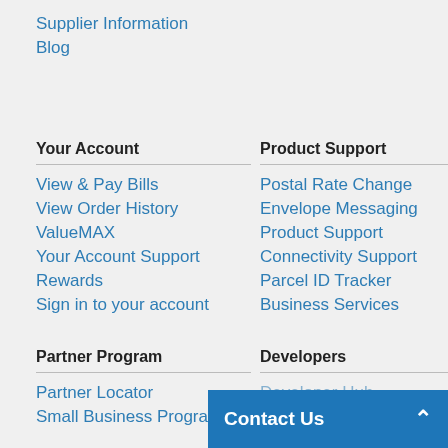Supplier Information
Blog
Your Account
View & Pay Bills
View Order History
ValueMAX
Your Account Support
Rewards
Sign in to your account
Product Support
Postal Rate Change
Envelope Messaging
Product Support
Connectivity Support
Parcel ID Tracker
Business Services
Partner Program
Partner Locator
Small Business Program
Developers
Developer Hub
Contact Us